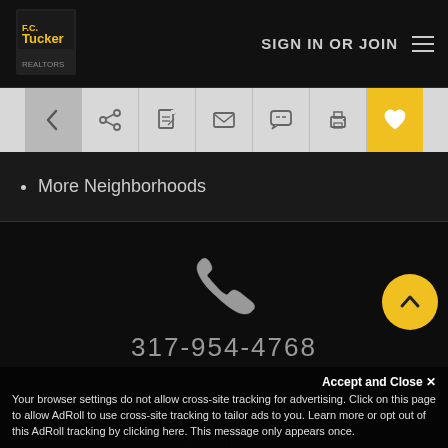[Figure (screenshot): F.C. Tucker company logo in top left navigation bar]
SIGN IN OR JOIN
[Figure (infographic): Toolbar with back arrow, share, edit, email, message, print, and heart favorite icons]
More Neighborhoods
[Figure (infographic): Phone handset icon]
317-954-4768
[Figure (infographic): Home/house icon]
Browse Homes →
Accept and Close ✕
Your browser settings do not allow cross-site tracking for advertising. Click on this page to allow AdRoll to use cross-site tracking to tailor ads to you. Learn more or opt out of this AdRoll tracking by clicking here. This message only appears once.